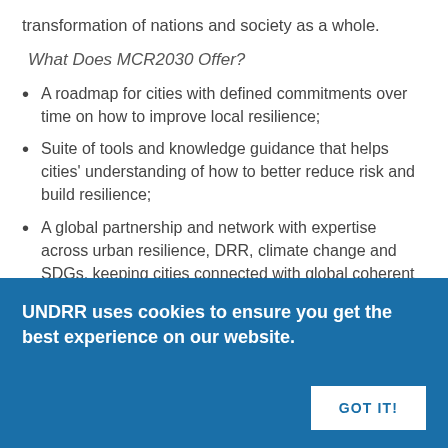transformation of nations and society as a whole.
What Does MCR2030 Offer?
A roadmap for cities with defined commitments over time on how to improve local resilience;
Suite of tools and knowledge guidance that helps cities' understanding of how to better reduce risk and build resilience;
A global partnership and network with expertise across urban resilience, DRR, climate change and SDGs, keeping cities connected with global coherent policies towards achieving the 2030 Agenda;
Regional networks of partners with implementation
UNDRR uses cookies to ensure you get the best experience on our website.